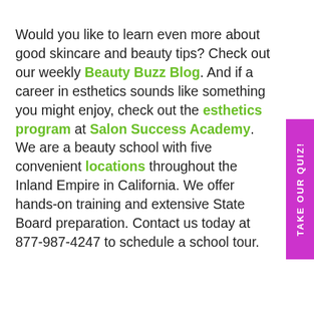Would you like to learn even more about good skincare and beauty tips? Check out our weekly Beauty Buzz Blog. And if a career in esthetics sounds like something you might enjoy, check out the esthetics program at Salon Success Academy. We are a beauty school with five convenient locations throughout the Inland Empire in California. We offer hands-on training and extensive State Board preparation. Contact us today at 877-987-4247 to schedule a school tour.
TAKE OUR QUIZ!